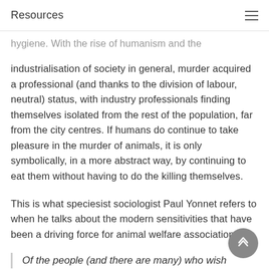Resources
hygiene. With the rise of humanism and the industrialisation of society in general, murder acquired a professional (and thanks to the division of labour, neutral) status, with industry professionals finding themselves isolated from the rest of the population, far from the city centres. If humans do continue to take pleasure in the murder of animals, it is only symbolically, in a more abstract way, by continuing to eat them without having to do the killing themselves.
This is what speciesist sociologist Paul Yonnet refers to when he talks about the modern sensitivities that have been a driving force for animal welfare associations:
Of the people (and there are many) who wish…